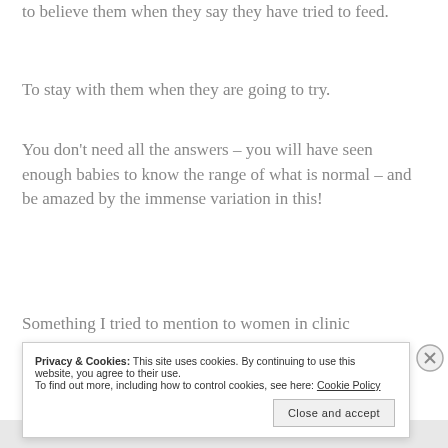to believe them when they say they have tried to feed.
To stay with them when they are going to try.
You don't need all the answers – you will have seen enough babies to know the range of what is normal – and be amazed by the immense variation in this!
Something I tried to mention to women in clinic
Privacy & Cookies: This site uses cookies. By continuing to use this website, you agree to their use.
To find out more, including how to control cookies, see here: Cookie Policy
Close and accept